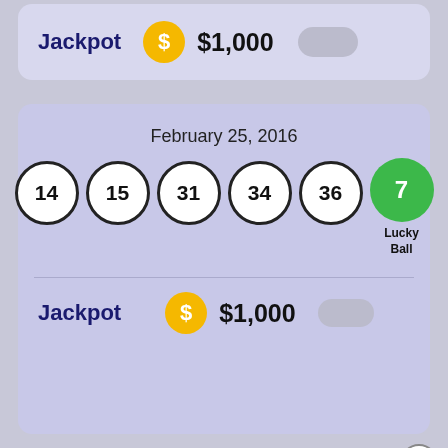Jackpot  $1,000
February 25, 2016
14  15  31  34  36  7 Lucky Ball
Jackpot  $1,000
[Figure (screenshot): Hulu Disney+ ESPN+ GET THE DISNEY BUNDLE advertisement banner]
February 28, 2016 (partially visible)
17 19 30 39 47 15 (partially visible)